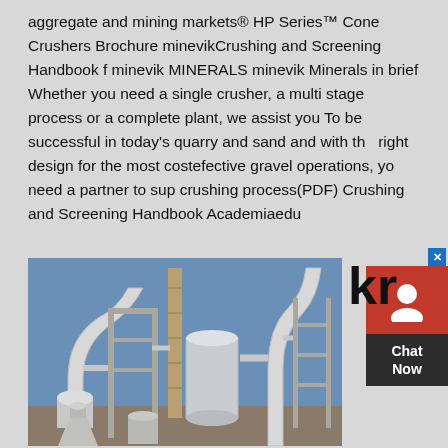aggregate and mining markets® HP Series™ Cone Crushers Brochure minevikCrushing and Screening Handbook f minevik MINERALS minevik Minerals in brief Whether you need a single crusher, a multi stage process or a complete plant, we assist you To be successful in today's quarry and sand and with the right design for the most costefective gravel operations, you need a partner to sup crushing process(PDF) Crushing and Screening Handbook Academiaedu
[Figure (screenshot): Chat Now widget overlay with red icon background showing a person silhouette icon, dark box with 'Chat Now' text, and blue close button]
[Figure (photo): Industrial mining/crushing plant with white machinery, silos, conveyor systems, and metal framework structures against a blue sky]
kr